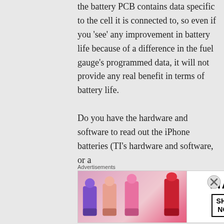the battery PCB contains data specific to the cell it is connected to, so even if you 'see' any improvement in battery life because of a difference in the fuel gauge's programmed data, it will not provide any real benefit in terms of battery life.

Do you have the hardware and software to read out the iPhone batteries (TI's hardware and software, or a
Advertisements
[Figure (photo): MAC cosmetics advertisement showing colorful lipsticks with MAC logo and SHOP NOW call to action button]